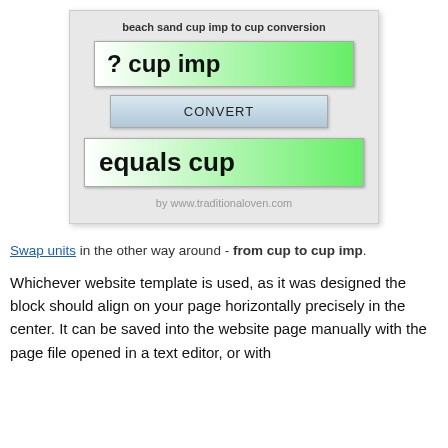[Figure (screenshot): Web converter widget for beach sand cup imp to cup conversion. Shows an input bar with '? cup imp', a CONVERT button, and an output bar with 'equals cup', with attribution to www.traditionaloven.com]
Swap units in the other way around - from cup to cup imp.
Whichever website template is used, as it was designed the block should align on your page horizontally precisely in the center. It can be saved into the website page manually with the page file opened in a text editor, or with